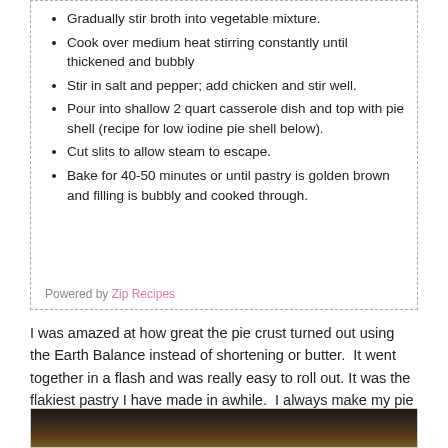Gradually stir broth into vegetable mixture.
Cook over medium heat stirring constantly until thickened and bubbly
Stir in salt and pepper; add chicken and stir well.
Pour into shallow 2 quart casserole dish and top with pie shell (recipe for low iodine pie shell below).
Cut slits to allow steam to escape.
Bake for 40-50 minutes or until pastry is golden brown and filling is bubbly and cooked through.
Powered by Zip Recipes
I was amazed at how great the pie crust turned out using the Earth Balance instead of shortening or butter.  It went together in a flash and was really easy to roll out. It was the flakiest pastry I have made in awhile.  I always make my pie crust in a food processor because it takes about 5 minutes to put it together.
[Figure (photo): Photo of a golden-brown pie crust, partially visible at bottom of page]